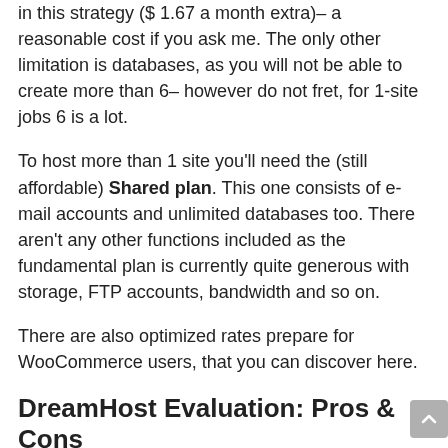in this strategy ($ 1.67 a month extra)– a reasonable cost if you ask me. The only other limitation is databases, as you will not be able to create more than 6– however do not fret, for 1-site jobs 6 is a lot.
To host more than 1 site you'll need the (still affordable) Shared plan. This one consists of e-mail accounts and unlimited databases too. There aren't any other functions included as the fundamental plan is currently quite generous with storage, FTP accounts, bandwidth and so on.
There are also optimized rates prepare for WooCommerce users, that you can discover here.
DreamHost Evaluation: Pros & Cons
Sure, DreamHost is pretty low-cost and uses quite a lot,